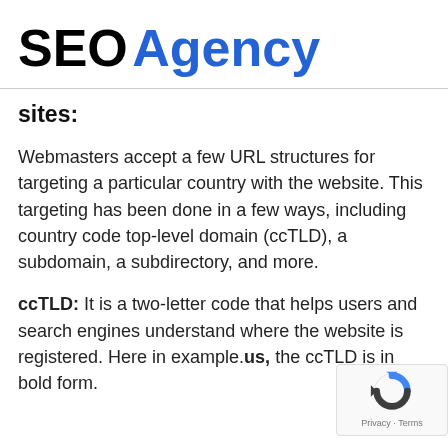SEO Agency
sites:
Webmasters accept a few URL structures for targeting a particular country with the website. This targeting has been done in a few ways, including country code top-level domain (ccTLD), a subdomain, a subdirectory, and more.
ccTLD: It is a two-letter code that helps users and search engines understand where the website is registered. Here in example.us, the ccTLD is in bold form.
[Figure (logo): reCAPTCHA badge with Privacy - Terms text]